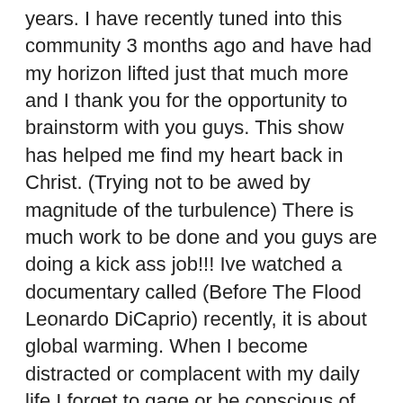years. I have recently tuned into this community 3 months ago and have had my horizon lifted just that much more and I thank you for the opportunity to brainstorm with you guys. This show has helped me find my heart back in Christ. (Trying not to be awed by magnitude of the turbulence) There is much work to be done and you guys are doing a kick ass job!!! Ive watched a documentary called (Before The Flood Leonardo DiCaprio) recently, it is about global warming. When I become distracted or complacent with my daily life I forget to gage or be conscious of this issuse. A lot of the time when I'm listening to you guys brainstorming, (and because I am only one person); the topics we discuss seem so much of the spiritual and intangible. I feel while we are here, since we have influence over that of the physical realm